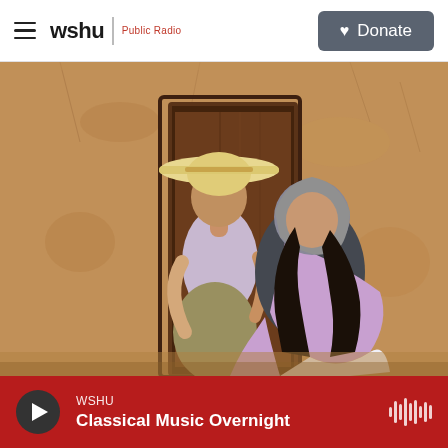wshu | Public Radio — Donate
[Figure (photo): Two women standing in a doorway of an adobe/mud-brick building. The woman on the left wears a wide-brimmed straw hat and a light purple blouse with a pleated olive skirt. The woman on the right leans toward her, wearing a gray head covering and holding a purple and white flag or shawl draped over her shoulder. The setting appears rural with warm sandy tones.]
WSHU — Classical Music Overnight